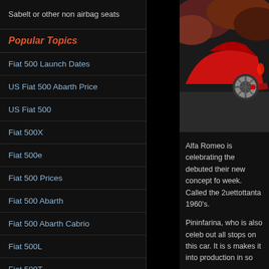Sabelt or other non airbag seats
Popular Topics
Fiat 500 Launch Dates
US Fiat 500 Abarth Price
US Fiat 500
Fiat 500X
Fiat 500e
Fiat 500 Prices
Fiat 500 Abarth
Fiat 500 Abarth Cabrio
Fiat 500L
Fiat 500T
[Figure (photo): Red sports car (Alfa Romeo 2uettottanta concept) rear view, parked on a road with trees/foliage in background]
Alfa Romeo is celebrating the debuted their new concept fo week. Called the 2uettottanta 1960's.
Pininfarina, who is also celeb out all stops on this car. It is s makes it into production in so